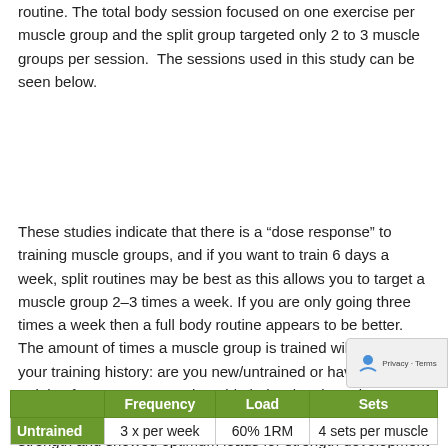routine. The total body session focused on one exercise per muscle group and the split group targeted only 2 to 3 muscle groups per session. The sessions used in this study can be seen below.
These studies indicate that there is a “dose response” to training muscle groups, and if you want to train 6 days a week, split routines may be best as this allows you to target a muscle group 2-3 times a week. If you are only going three times a week then a full body routine appears to be better. The amount of times a muscle group is trained will depend on your training history: are you new/untrained or have you been training for many years? The table below is adapted a Peterson 2005 review into the ‘dose response’ for muscle strength and showed optimum loads for strength development to be:
|  | Frequency | Load | Sets |
| --- | --- | --- | --- |
| Untrained | 3 x per week | 60% 1RM | 4 sets per muscle |